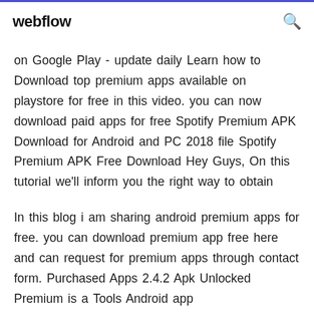webflow
on Google Play - update daily Learn how to Download top premium apps available on playstore for free in this video. you can now download paid apps for free Spotify Premium APK Download for Android and PC 2018 file Spotify Premium APK Free Download Hey Guys, On this tutorial we'll inform you the right way to obtain
In this blog i am sharing android premium apps for free. you can download premium app free here and can request for premium apps through contact form. Purchased Apps 2.4.2 Apk Unlocked Premium is a Tools Android app